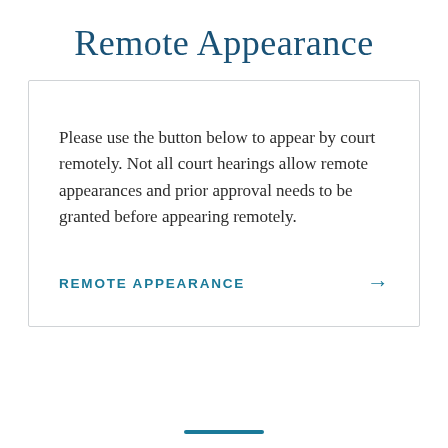Remote Appearance
Please use the button below to appear by court remotely. Not all court hearings allow remote appearances and prior approval needs to be granted before appearing remotely.
REMOTE APPEARANCE →